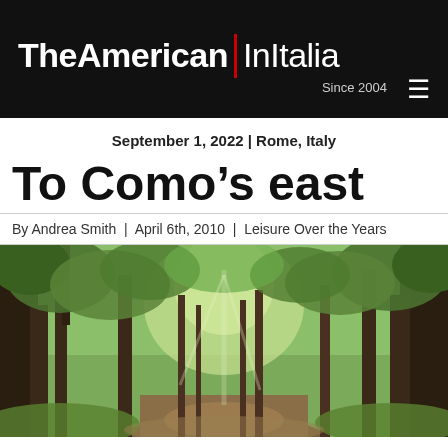TheAmerican | InItalia Since 2004
September 1, 2022 | Rome, Italy
To Como's east
By Andrea Smith | April 6th, 2010 | Leisure Over the Years
[Figure (photo): A lush green forest path with tall trees arching overhead, sunlight filtering through the canopy, dirt trail visible at the bottom.]